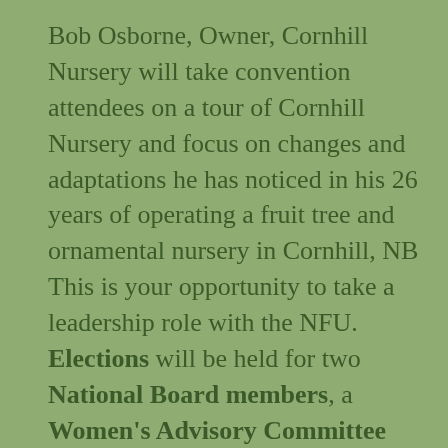Bob Osborne, Owner, Cornhill Nursery will take convention attendees on a tour of Cornhill Nursery and focus on changes and adaptations he has noticed in his 26 years of operating a fruit tree and ornamental nursery in Cornhill, NB This is your opportunity to take a leadership role with the NFU. Elections will be held for two National Board members, a Women's Advisory Committee member, a Youth Advisory Committee member, and an International Program Committee (IRC) member, as well as